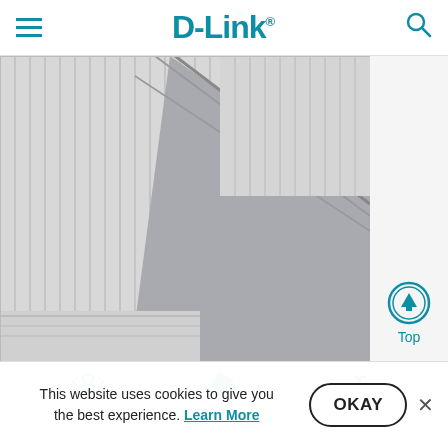D-Link navigation header with hamburger menu and search icon
[Figure (photo): Close-up architectural photo of a concrete building exterior with diagonal lines, panels, and a recessed walkway in grayscale]
[Figure (other): Right sidebar panel with 'Top' scroll-to-top button featuring circular up-arrow icon in teal]
[Figure (other): Bottom navigation icon bar with three teal icons]
This website uses cookies to give you the best experience. Learn More
OKAY